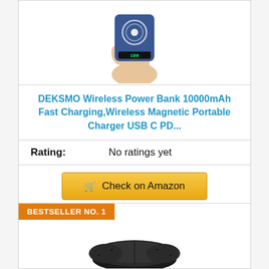[Figure (photo): Hand holding a small blue DEKSMO wireless power bank with a circular wireless charging indicator and an LED display showing 100%]
DEKSMO Wireless Power Bank 10000mAh Fast Charging,Wireless Magnetic Portable Charger USB C PD...
Rating: No ratings yet
Check on Amazon
BESTSELLER NO. 1
[Figure (photo): Black wireless charging pad product partially visible at the bottom of the page]